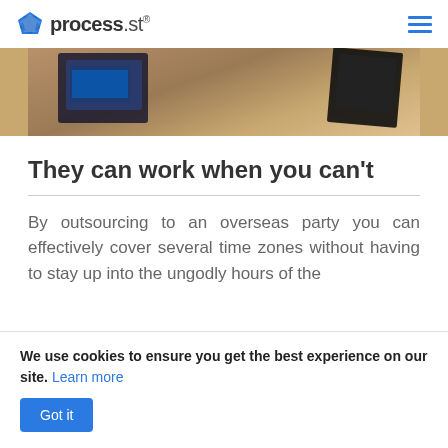process.st
[Figure (photo): A photo showing office equipment including what appears to be a phone/tablet device and a monitor on a wooden desk, cropped view from above]
They can work when you can't
By outsourcing to an overseas party you can effectively cover several time zones without having to stay up into the ungodly hours of the
We use cookies to ensure you get the best experience on our site. Learn more
Got it